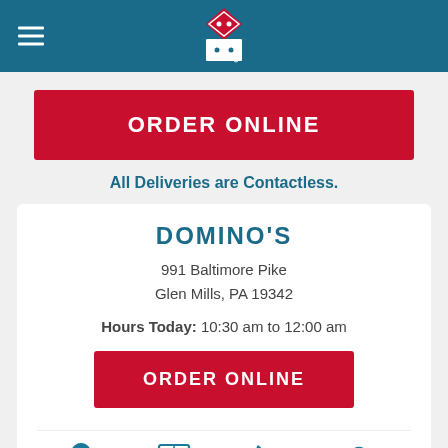[Figure (logo): Domino's Pizza logo on dark teal header with hamburger menu icon]
ORDER ONLINE
All Deliveries are Contactless.
DOMINO'S
991 Baltimore Pike
Glen Mills, PA 19342
Hours Today: 10:30 am to 12:00 am
ORDER ONLINE
[Figure (infographic): Bottom navigation bar with Map, Details, Call, and Search icons]